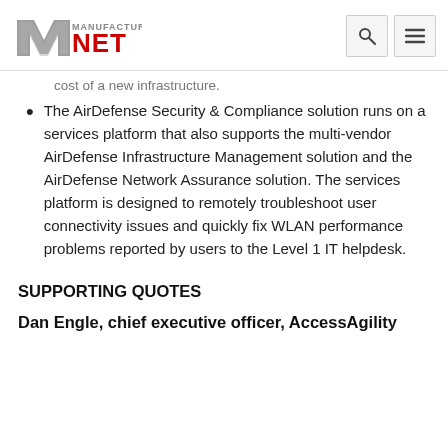Manufacturing.net
cost of a new infrastructure.
The AirDefense Security & Compliance solution runs on a services platform that also supports the multi-vendor AirDefense Infrastructure Management solution and the AirDefense Network Assurance solution. The services platform is designed to remotely troubleshoot user connectivity issues and quickly fix WLAN performance problems reported by users to the Level 1 IT helpdesk.
SUPPORTING QUOTES
Dan Engle, chief executive officer, AccessAgility